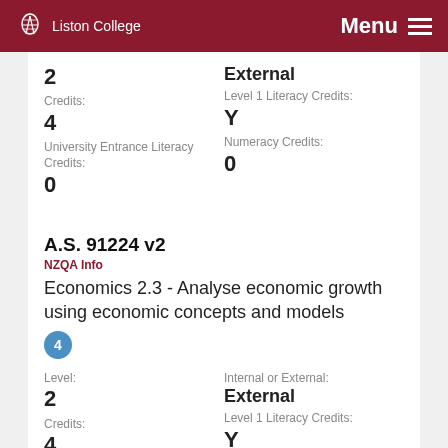Liston College | Menu
2
External
Credits:
Level 1 Literacy Credits:
4
Y
University Entrance Literacy Credits:
Numeracy Credits:
0
0
A.S. 91224 v2
NZQA Info
Economics 2.3 - Analyse economic growth using economic concepts and models
4
Level:
Internal or External:
2
External
Credits:
Level 1 Literacy Credits:
4
Y
University Entrance Literacy Credits:
Numeracy Credits:
0